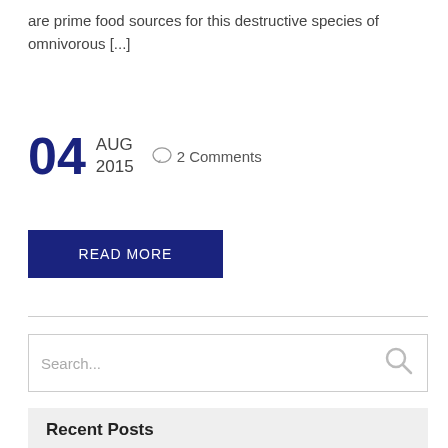are prime food sources for this destructive species of omnivorous [...]
04 AUG 2015 ○ 2 Comments
READ MORE
Search...
Recent Posts
A Deeper Dive into the Anole Lizard
The Annual Python Hunt in the Everglades